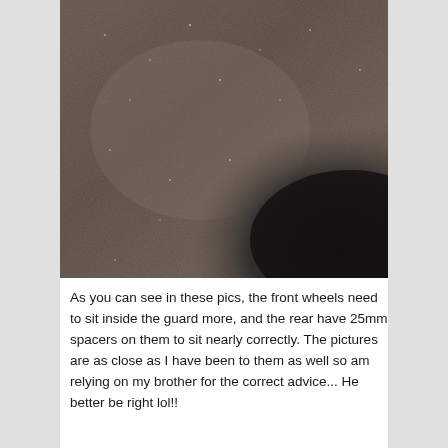[Figure (photo): Close-up photo of a dark textured surface (appears to be asphalt or pavement) with a dark shadow visible in the lower right corner, showing a grainy, granular texture with some small reflective particles.]
As you can see in these pics, the front wheels need to sit inside the guard more, and the rear have 25mm spacers on them to sit nearly correctly. The pictures are as close as I have been to them as well so am relying on my brother for the correct advice... He better be right lol!!